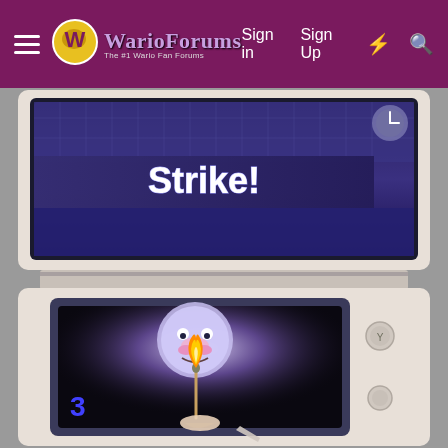WarioForums — Sign in | Sign Up
[Figure (screenshot): Screenshot of a Nintendo 3DS handheld game console showing two screens. The top screen displays a bowling game with 'Strike!' text on a dark purple/blue background. The bottom screen shows a lit match held by a hand in front of an illuminated cartoon character face, with the number '3' visible in the bottom left corner. The device is white/cream colored with buttons visible on the right side.]